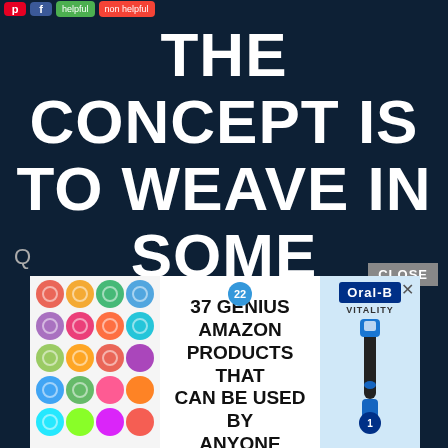[Figure (screenshot): Social media share buttons bar with Pinterest (red P), Facebook (blue f), green 'helpful' button, and red 'non helpful' button]
THE CONCEPT IS TO WEAVE IN SOME EMOTION,.
[Figure (screenshot): CLOSE button overlay in grey]
[Figure (infographic): Advertisement banner showing colorful scrunchies on the left, center text '22 / 37 GENIUS AMAZON PRODUCTS THAT CAN BE USED BY ANYONE', and Oral-B Vitality electric toothbrush on the right with an X close button]